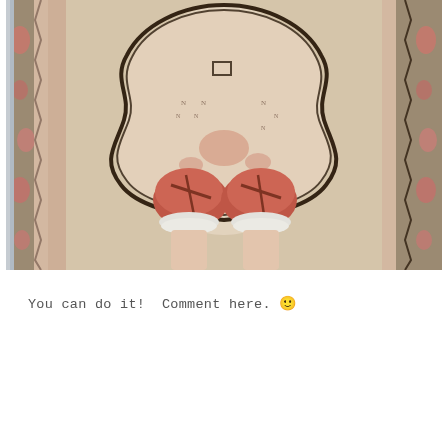[Figure (photo): Overhead view of a person's feet wearing red/coral leather moccasin-style shoes with white sherpa/fuzzy cuffs, standing on a decorative Persian-style rug with pink and beige tones, floral and geometric border patterns.]
You can do it!  Comment here. 🙂